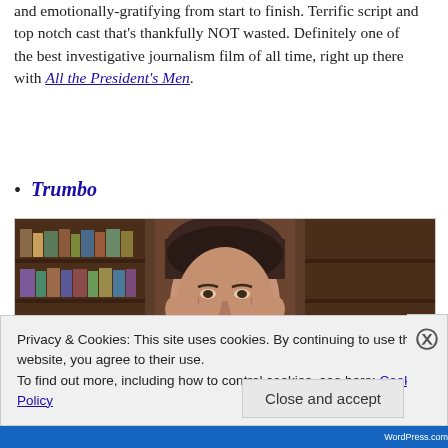and emotionally-gratifying from start to finish. Terrific script and top notch cast that's thankfully NOT wasted. Definitely one of the best investigative journalism film of all time, right up there with All the President's Men.
Trumbo
[Figure (photo): Movie still or promotional image for the film Trumbo, showing a man's face partially visible against a dark interior background with wooden shelves/cabinets]
Privacy & Cookies: This site uses cookies. By continuing to use this website, you agree to their use.
To find out more, including how to control cookies, see here: Cookie Policy